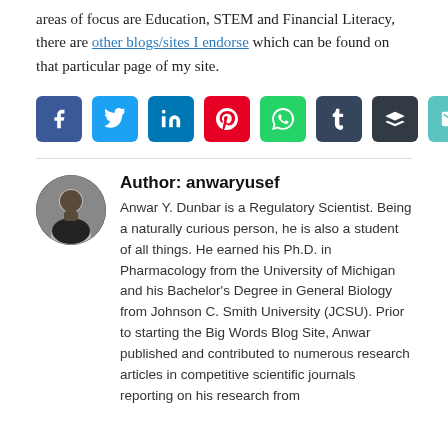areas of focus are Education, STEM and Financial Literacy, there are other blogs/sites I endorse which can be found on that particular page of my site.
[Figure (other): Row of 8 social media share buttons: Facebook, Twitter, LinkedIn, Pinterest, WhatsApp, Tumblr, Buffer, Email]
Author: anwaryusef
Anwar Y. Dunbar is a Regulatory Scientist. Being a naturally curious person, he is also a student of all things. He earned his Ph.D. in Pharmacology from the University of Michigan and his Bachelor's Degree in General Biology from Johnson C. Smith University (JCSU). Prior to starting the Big Words Blog Site, Anwar published and contributed to numerous research articles in competitive scientific journals reporting on his research from